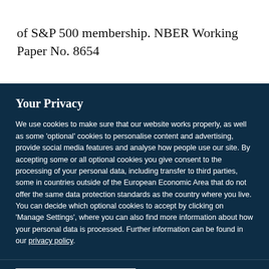of S&P 500 membership. NBER Working Paper No. 8654
Your Privacy
We use cookies to make sure that our website works properly, as well as some 'optional' cookies to personalise content and advertising, provide social media features and analyse how people use our site. By accepting some or all optional cookies you give consent to the processing of your personal data, including transfer to third parties, some in countries outside of the European Economic Area that do not offer the same data protection standards as the country where you live. You can decide which optional cookies to accept by clicking on 'Manage Settings', where you can also find more information about how your personal data is processed. Further information can be found in our privacy policy.
Accept all cookies
Manage preferences